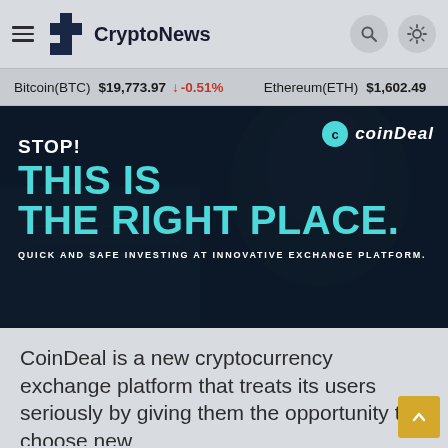CryptoNews
Bitcoin(BTC) $19,773.97 ↓ -0.51%   Ethereum(ETH) $1,602.49
[Figure (infographic): CoinDeal advertisement banner with dark background showing: STOP! THIS IS THE RIGHT PLACE. QUICK AND SAFE INVESTING AT INNOVATIVE EXCHANGE PLATFORM. CoinDeal logo in top right.]
CoinDeal is a new cryptocurrency exchange platform that treats its users seriously by giving them the opportunity to choose new